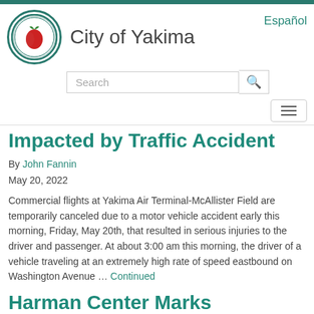City of Yakima
Impacted by Traffic Accident
By John Fannin
May 20, 2022
Commercial flights at Yakima Air Terminal-McAllister Field are temporarily canceled due to a motor vehicle accident early this morning, Friday, May 20th, that resulted in serious injuries to the driver and passenger. At about 3:00 am this morning, the driver of a vehicle traveling at an extremely high rate of speed eastbound on Washington Avenue … Continued
Harman Center Marks